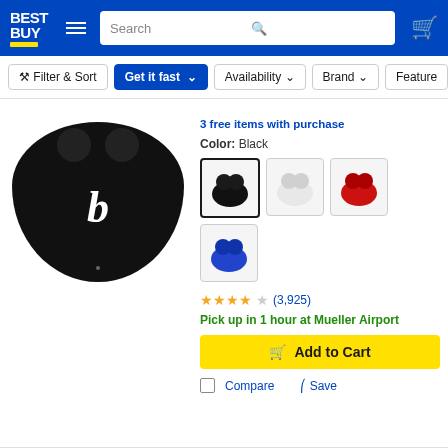Best Buy - Filter & Sort, Get it fast, Availability, Brand, Feature
3 free items with purchase
Color: Black
[Figure (photo): Beats Studio Buds wireless earbuds charging case in Black color]
[Figure (photo): Color swatches: Black (selected), White, Red, Blue]
★★★★☆ (3,925)
Pick up in 1 hour at Mueller Airport
Add to Cart
Compare  Save